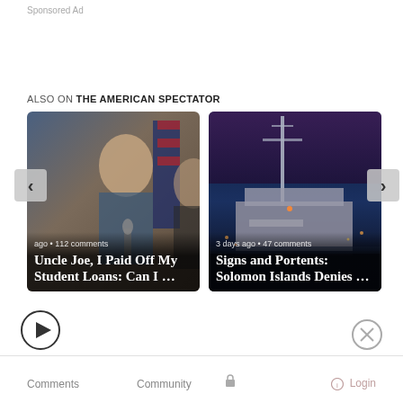Sponsored Ad
ALSO ON THE AMERICAN SPECTATOR
[Figure (photo): Article card: photo of Biden with text 'ago • 112 comments' and title 'Uncle Joe, I Paid Off My Student Loans: Can I ...']
[Figure (photo): Article card: night harbor with Coast Guard ship, text '3 days ago • 47 comments' and title 'Signs and Portents: Solomon Islands Denies ...']
Comments
Community
Login